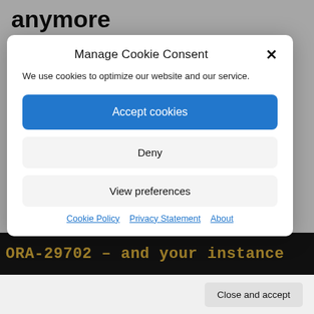anymore
Posted on November 13, 2020 by Mike.Dietrich
ASM / RAC / GI
Flaws and Pitfalls
Patch Recommendation
Manage Cookie Consent
We use cookies to optimize our website and our service.
Accept cookies
Deny
View preferences
Cookie Policy   Privacy Statement   About
Close and accept
[Figure (screenshot): Yellow text on dark background reading 'ORA-29702 – and your instance']